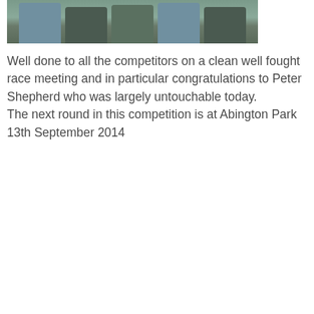[Figure (photo): Partial photograph showing people standing outdoors on grass, cropped at the top of the page]
Well done to all the competitors on a clean well fought race meeting and in particular congratulations to Peter Shepherd who was largely untouchable today. The next round in this competition is at Abington Park 13th September 2014